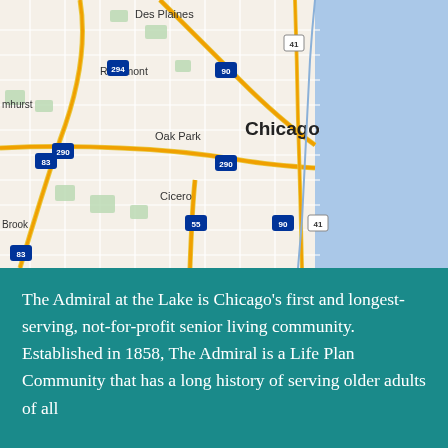[Figure (map): Google Maps view of Chicago and surrounding suburbs including Des Plaines, Rosemont, Oak Park, Cicero, with major highways I-294, I-290, I-90, I-55, Route 41 visible. Lake Michigan shown as blue area on the right side.]
The Admiral at the Lake is Chicago's first and longest-serving, not-for-profit senior living community. Established in 1858, The Admiral is a Life Plan Community that has a long history of serving older adults of all